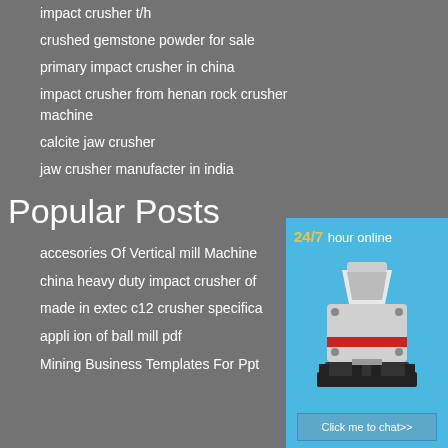impact crusher t/h
crushed gemstone powder for sale
primary impact crusher in china
impact crusher from henan rock crusher machine
calcite jaw crusher
jaw crusher manufacter in india
Popular Posts
accesories Of Vertical mill Machine
china heavy duty impact crusher of
made in extec c12 crusher specifica
appli ion of ball mill pdf
Mining Business Templates For Ppt
[Figure (infographic): 24/7 hour online chat widget with a crusher machine image, a 'Click me to chat>>' button, an Enquiry section, and limingjlmofen text at the bottom on a light blue background.]